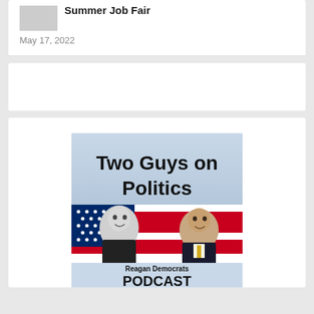Summer Job Fair
May 17, 2022
[Figure (illustration): Two Guys on Politics – Reagan Democrats Podcast promotional image featuring two men in front of an American flag background]